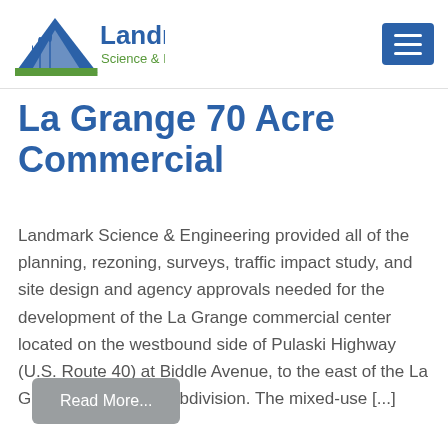[Figure (logo): Landmark Science & Engineering logo with blue triangle/mountain and green grass graphic, company name in dark blue text]
La Grange 70 Acre Commercial
Landmark Science & Engineering provided all of the planning, rezoning, surveys, traffic impact study, and site design and agency approvals needed for the development of the La Grange commercial center located on the westbound side of Pulaski Highway (U.S. Route 40) at Biddle Avenue, to the east of the La Grange residential subdivision. The mixed-use [...]
Read More...